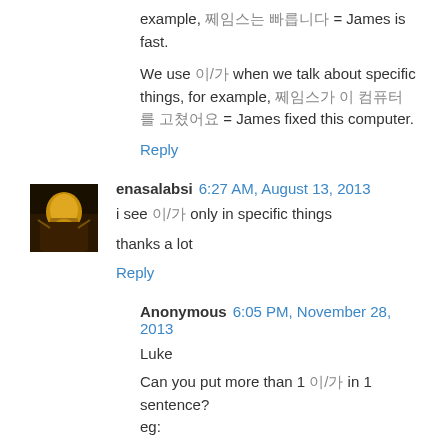example, ▌▌▌▌ ▌▌▌ = James is fast.

We use ▌/▌ when we talk about specific things, for example, ▌▌▌▌ ▌ ▌▌▌▌ ▌▌▌ = James fixed this computer.
Reply
enasalabsi  6:27 AM, August 13, 2013
i see ▌/▌ only in specific things

thanks a lot
Reply
Anonymous  6:05 PM, November 28, 2013
Luke
Can you put more than 1 ▌/▌ in 1 sentence?
eg:
▌▌ ▌▌▌ ▌▌▌ ▌ ▌▌▌